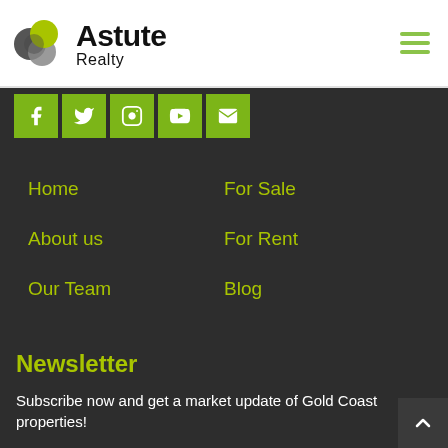[Figure (logo): Astute Realty logo with overlapping grey and green circles and bold text 'Astute Realty']
[Figure (infographic): Social media icon bar with Facebook, Twitter, Instagram, YouTube, and Email icons on green/olive square backgrounds]
Home
For Sale
About us
For Rent
Our Team
Blog
Newsletter
Subscribe now and get a market update of Gold Coast properties!